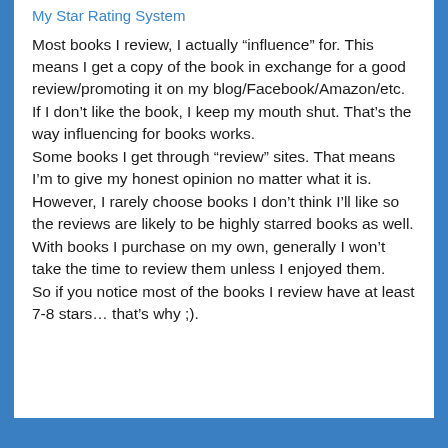My Star Rating System
Most books I review, I actually “influence” for. This means I get a copy of the book in exchange for a good review/promoting it on my blog/Facebook/Amazon/etc. If I don’t like the book, I keep my mouth shut. That’s the way influencing for books works.
Some books I get through “review” sites. That means I’m to give my honest opinion no matter what it is. However, I rarely choose books I don’t think I’ll like so the reviews are likely to be highly starred books as well.
With books I purchase on my own, generally I won’t take the time to review them unless I enjoyed them.
So if you notice most of the books I review have at least 7-8 stars… that’s why ;).